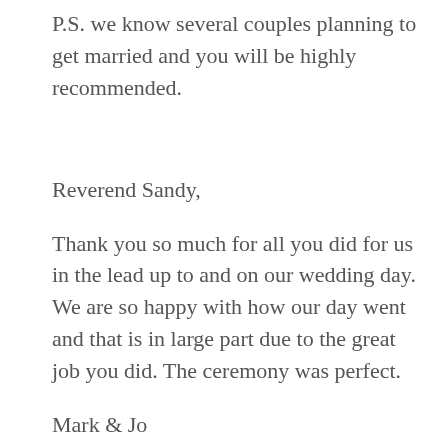P.S. we know several couples planning to get married and you will be highly recommended.
Reverend Sandy,
Thank you so much for all you did for us in the lead up to and on our wedding day. We are so happy with how our day went and that is in large part due to the great job you did. The ceremony was perfect.
Mark & Jo
Reverend Sandy,